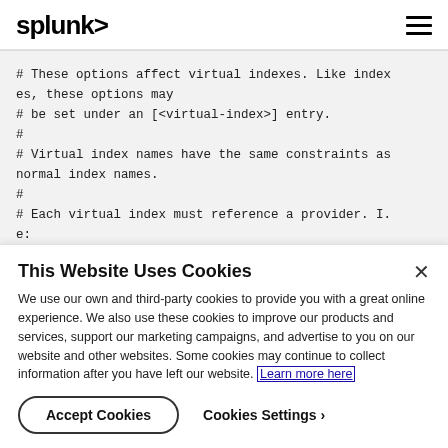splunk>
# These options affect virtual indexes. Like indexes, these options may
# be set under an [<virtual-index>] entry.
#
# Virtual index names have the same constraints as normal index names.
#
# Each virtual index must reference a provider. I.e:
This Website Uses Cookies
We use our own and third-party cookies to provide you with a great online experience. We also use these cookies to improve our products and services, support our marketing campaigns, and advertise to you on our website and other websites. Some cookies may continue to collect information after you have left our website. Learn more here
Accept Cookies  Cookies Settings ›